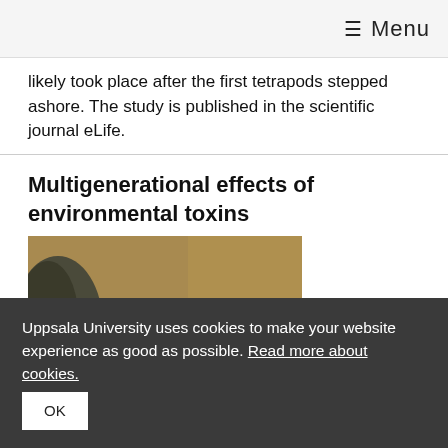≡ Menu
likely took place after the first tetrapods stepped ashore. The study is published in the scientific journal eLife.
Multigenerational effects of environmental toxins
[Figure (photo): Close-up photograph of a frog partially submerged in water, with a rock visible in the background. The water has a warm golden-brown tone. The frog's head and eyes are visible above the water surface.]
Uppsala University uses cookies to make your website experience as good as possible. Read more about cookies. OK